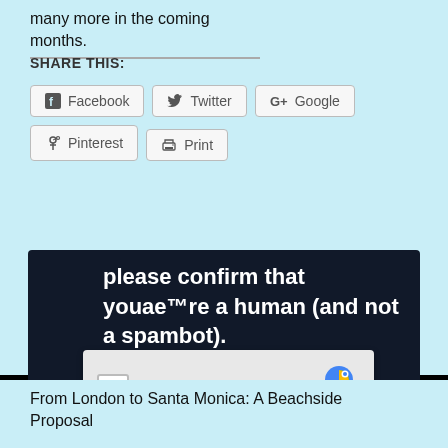many more in the coming months.
SHARE THIS:
Facebook
Twitter
Google+
Pinterest
Print
[Figure (screenshot): A dark navy screenshot showing a CAPTCHA prompt: 'please confirm that youae™re a human (and not a spambot).' with a reCAPTCHA checkbox widget saying 'I'm not a robot' and a Vanteo logo in the background.]
From London to Santa Monica: A Beachside Proposal